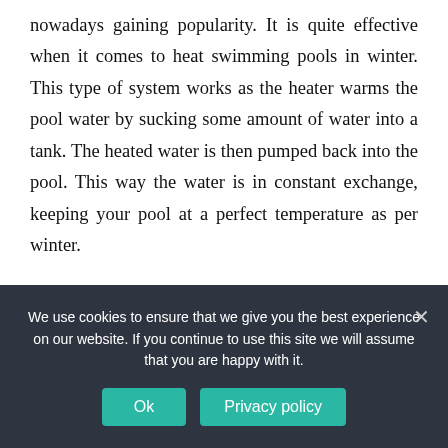nowadays gaining popularity. It is quite effective when it comes to heat swimming pools in winter. This type of system works as the heater warms the pool water by sucking some amount of water into a tank. The heated water is then pumped back into the pool. This way the water is in constant exchange, keeping your pool at a perfect temperature as per winter.

While this system requires more upfront charges for installation, but you can expect low bills. One of the
We use cookies to ensure that we give you the best experience on our website. If you continue to use this site we will assume that you are happy with it.